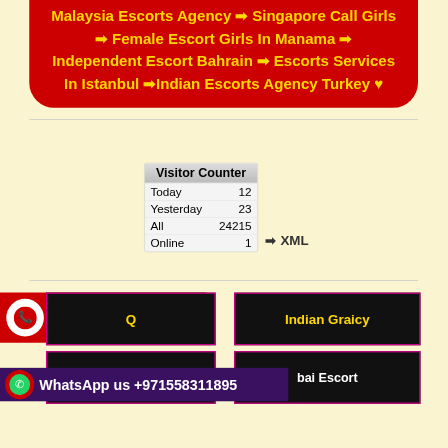[Figure (infographic): Red rounded banner with yellow bold text listing escort agency services across Malaysia, Singapore, Manama, Bahrain, Istanbul, Turkey]
| Visitor Counter |  |
| --- | --- |
| Today | 12 |
| Yesterday | 23 |
| All | 24215 |
| Online | 1 |
➡ XML
[Figure (infographic): Red Call Now button with phone icon and number +971558311895, alongside dark black boxes with pink borders showing Q and Indian Graicy text]
[Figure (infographic): Purple WhatsApp banner with icon showing WhatsApp us +971558311895 and dark boxes with Dubai Escort text]